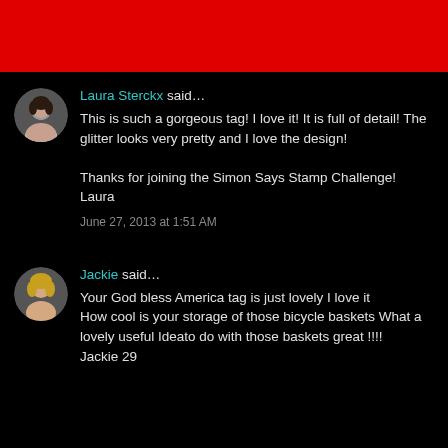[Figure (other): Red header bar at top of page]
Laura Sterckx said…

This is such a gorgeous tag! I love it! It is full of detail! The glitter looks very pretty and I love the design!

Thanks for joining the Simon Says Stamp Challenge!
Laura

June 27, 2013 at 1:51 AM
Jackie said…

Your God bless America tag is just lovely I love it
How cool is your storage of those bicycle baskets What a lovely useful Ideato do with those baskets great !!!!
Jackie 29